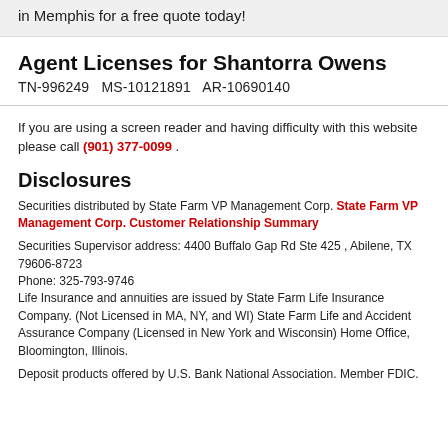in Memphis for a free quote today!
Agent Licenses for Shantorra Owens
TN-996249   MS-10121891   AR-10690140
If you are using a screen reader and having difficulty with this website please call (901) 377-0099 .
Disclosures
Securities distributed by State Farm VP Management Corp. State Farm VP Management Corp. Customer Relationship Summary
Securities Supervisor address: 4400 Buffalo Gap Rd Ste 425 , Abilene, TX 79606-8723 Phone: 325-793-9746 Life Insurance and annuities are issued by State Farm Life Insurance Company. (Not Licensed in MA, NY, and WI) State Farm Life and Accident Assurance Company (Licensed in New York and Wisconsin) Home Office, Bloomington, Illinois.
Deposit products offered by U.S. Bank National Association. Member FDIC.